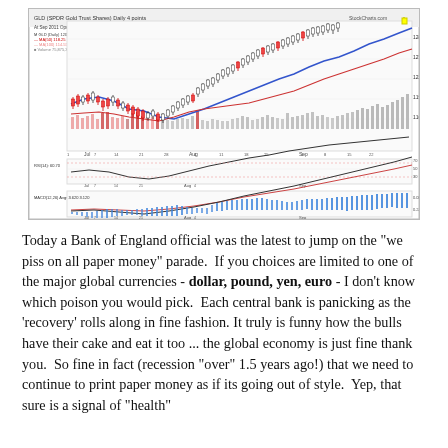[Figure (continuous-plot): Stock chart for GLD (SPDR Gold Trust Shares) showing candlestick price action with moving averages (blue and red lines), volume bars (red/gray), RSI indicator panel, and MACD indicator panel with histogram. Time axis spans from Jul to Sep. Price rises strongly toward the right side of the chart. Three panels: main price/volume, RSI, and MACD/histogram.]
Today a Bank of England official was the latest to jump on the "we piss on all paper money" parade.  If you choices are limited to one of the major global currencies - dollar, pound, yen, euro - I don't know which poison you would pick.  Each central bank is panicking as the 'recovery' rolls along in fine fashion. It truly is funny how the bulls have their cake and eat it too ... the global economy is just fine thank you.  So fine in fact (recession "over" 1.5 years ago!) that we need to continue to print paper money as if its going out of style.  Yep, that sure is a signal of "health"